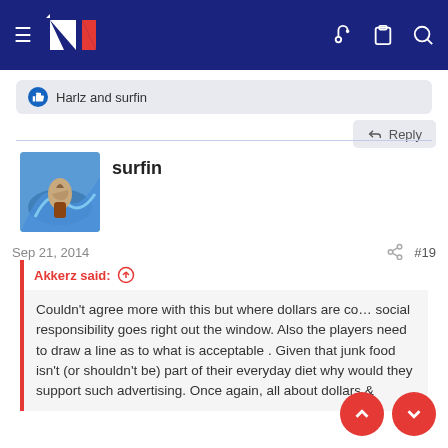NZ forum header with hamburger menu, NZ logo, key icon, clipboard icon, search icon
Harlz and surfin
Reply
surfin
Sep 21, 2014  #19
Akkerz said:
Couldn't agree more with this but where dollars are co... social responsibility goes right out the window. Also the players need to draw a line as to what is acceptable . Given that junk food isn't (or shouldn't be) part of their everyday diet why would they support such advertising. Once again, all about dollars &